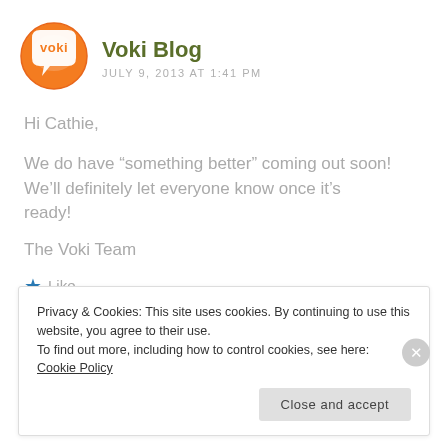[Figure (logo): Voki logo: orange circle with speech bubble and 'voki' text in white]
Voki Blog
JULY 9, 2013 AT 1:41 PM
Hi Cathie,
We do have “something better” coming out soon! We’ll definitely let everyone know once it’s ready!
The Voki Team
★ Like
Privacy & Cookies: This site uses cookies. By continuing to use this website, you agree to their use.
To find out more, including how to control cookies, see here: Cookie Policy
Close and accept